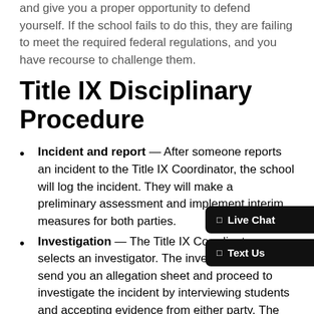and give you a proper opportunity to defend yourself. If the school fails to do this, they are failing to meet the required federal regulations, and you have recourse to challenge them.
Title IX Disciplinary Procedure
Incident and report — After someone reports an incident to the Title IX Coordinator, the school will log the incident. They will make a preliminary assessment and implement interim measures for both parties.
Investigation — The Title IX Coordinator selects an investigator. The investigator will send you an allegation sheet and proceed to investigate the incident by interviewing students and accepting evidence from either party. The investigator will make a finding based on the preponderance of evidence standard (whether it is more likely than not you violated the school misconduct policy). They will then produce an investigatory report. This report
[Figure (other): Live Chat and Text Us overlay buttons in bottom-right corner]